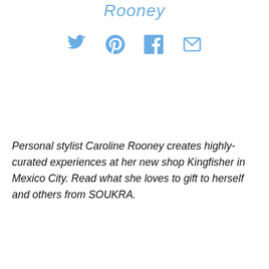Rooney
[Figure (infographic): Social media sharing icons: Twitter bird, Pinterest P, Facebook f, Email envelope — in light blue]
Personal stylist Caroline Rooney creates highly-curated experiences at her new shop Kingfisher in Mexico City. Read what she loves to gift to herself and others from SOUKRA.